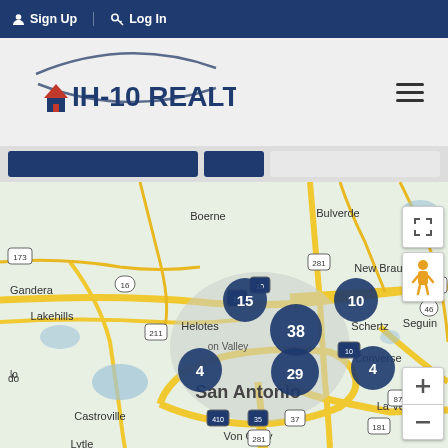Sign Up | Log In
[Figure (logo): IH-10 Realty logo with swoosh arc and red house icon]
[Figure (map): Google map of San Antonio TX area showing clustered property markers: 15, 10, 38, 4 (left), 29, 4 (right) properties. Cities labeled: Boerne, Bulverde, New Braunfels, Seguin, Lakehills, Helotes, Schertz, Converse, San Antonio, Castroville, La Vernia, Von Ormy, Lytle. Road markers: 173, 16, 10, 281, 123, 46, 211, 10, 87, 410, 35, 37, 181, 281. Map controls: fullscreen, pegman, zoom+, zoom-.]